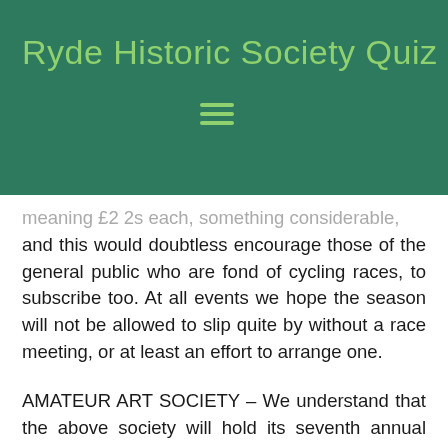Ryde Historic Society Quiz Nig
meaning £2 2s each, something considerable, and this would doubtless encourage those of the general public who are fond of cycling races, to subscribe too. At all events we hope the season will not be allowed to slip quite by without a race meeting, or at least an effort to arrange one.
AMATEUR ART SOCIETY – We understand that the above society will hold its seventh annual exhibition in the Odd Fellows' Hall, on the 24th, 25th and 26th of November next. Members intending to exhibit should send a list of their works to the hon secretary, Sir William Levinge, Sutherland Lodge, St John's Park, not later than the